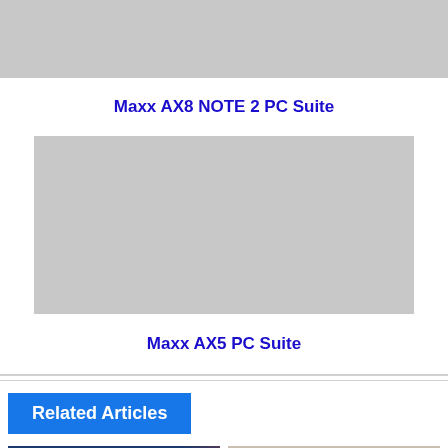[Figure (photo): Gray placeholder image for Maxx AX8 NOTE 2 PC Suite]
Maxx AX8 NOTE 2 PC Suite
[Figure (photo): Gray placeholder image for Maxx AX5 PC Suite]
Maxx AX5 PC Suite
Related Articles
[Figure (photo): Thumbnail image of smartphones with Techs tag]
[Figure (photo): Thumbnail image of a device/gadget]